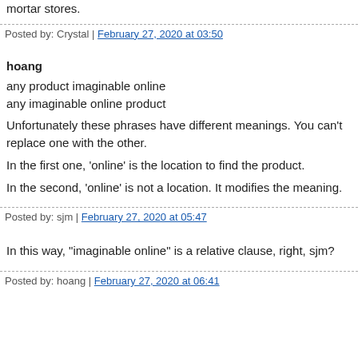mortar stores.
Posted by: Crystal | February 27, 2020 at 03:50
hoang
any product imaginable online
any imaginable online product
Unfortunately these phrases have different meanings. You can't replace one with the other.
In the first one, 'online' is the location to find the product.
In the second, 'online' is not a location. It modifies the meaning.
Posted by: sjm | February 27, 2020 at 05:47
In this way, "imaginable online" is a relative clause, right, sjm?
Posted by: hoang | February 27, 2020 at 06:41